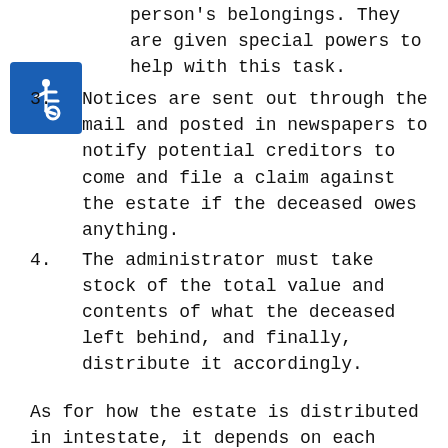(continuing) person's belongings. They are given special powers to help with this task.
3. Notices are sent out through the mail and posted in newspapers to notify potential creditors to come and file a claim against the estate if the deceased owes anything.
4. The administrator must take stock of the total value and contents of what the deceased left behind, and finally, distribute it accordingly.
As for how the estate is distributed in intestate, it depends on each state. In California, it has a question of whether the deceased is still married or not.